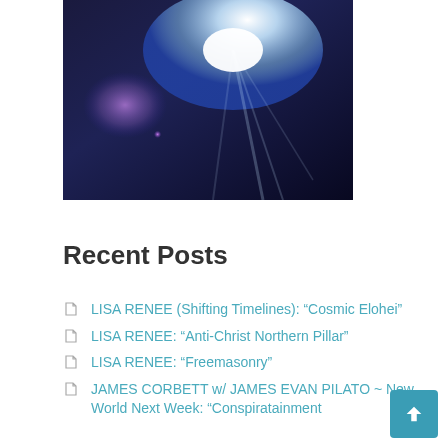[Figure (photo): Bright light flare image with blue, white, and purple tones, resembling a cosmic or lens flare effect]
Recent Posts
LISA RENEE (Shifting Timelines): “Cosmic Elohei”
LISA RENEE: “Anti-Christ Northern Pillar”
LISA RENEE: “Freemasonry”
JAMES CORBETT w/ JAMES EVAN PILATO ~ New World Next Week: “Conspiratainment